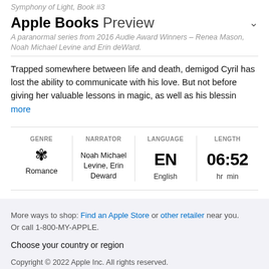Symphony of Light, Book #3
Apple Books Preview
A paranormal series from 2016 Audie Award Winners – Renea Mason, Noah Michael Levine and Erin deWard.
Trapped somewhere between life and death, demigod Cyril has lost the ability to communicate with his love. But not before giving her valuable lessons in magic, as well as his blessin… more
| GENRE | NARRATOR | LANGUAGE | LENGTH |
| --- | --- | --- | --- |
| Romance | Noah Michael Levine, Erin Deward | EN
English | 06:52
hr  min |
More ways to shop: Find an Apple Store or other retailer near you. Or call 1-800-MY-APPLE.

Choose your country or region

Copyright © 2022 Apple Inc. All rights reserved.
Privacy Policy | Terms of Use | Sales and Refunds | Legal | Site Map